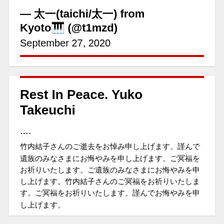— 太一(taichi/太一) from Kyoto🎹 (@t1mzd)
September 27, 2020
Rest In Peace. Yuko Takeuchi
.... 竹内結子さんのご逝去をお悼み申し上げます。謹んで遺族のみなさまにお悔やみを申し上げます。